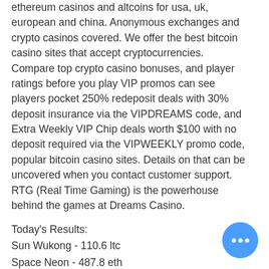ethereum casinos and altcoins for usa, uk, european and china. Anonymous exchanges and crypto casinos covered. We offer the best bitcoin casino sites that accept cryptocurrencies. Compare top crypto casino bonuses, and player ratings before you play VIP promos can see players pocket 250% redeposit deals with 30% deposit insurance via the VIPDREAMS code, and Extra Weekly VIP Chip deals worth $100 with no deposit required via the VIPWEEKLY promo code, popular bitcoin casino sites. Details on that can be uncovered when you contact customer support. RTG (Real Time Gaming) is the powerhouse behind the games at Dreams Casino.
Today's Results:
Sun Wukong - 110.6 ltc
Space Neon - 487.8 eth
Africa Gold - 221.7 dog
Zhao Cai Jin Bao Jackpot - 697.2 btc